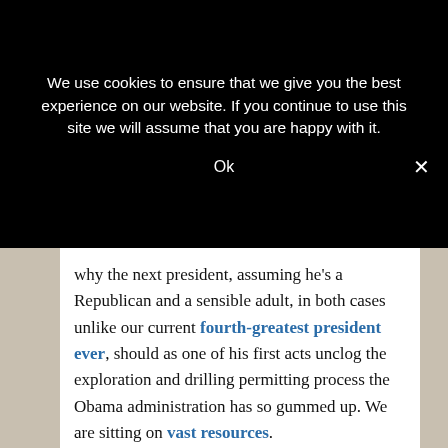We use cookies to ensure that we give you the best experience on our website. If you continue to use this site we will assume that you are happy with it.
Ok
why the next president, assuming he's a Republican and a sensible adult, in both cases unlike our current fourth-greatest president ever, should as one of his first acts unclog the exploration and drilling permitting process the Obama administration has so gummed up. We are sitting on vast resources.
PPS: Yeah, I know. Obama does not exactly have a sterling record of